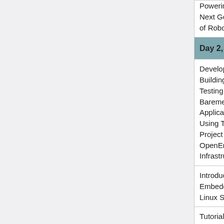| Title | Speaker | PDF |
| --- | --- | --- |
| Powering the Next Generation of Robotics |  |  |
| Day 2, 3:15pm |  |  |
| Developing, Building and Testing Your Baremetal Applications Using The Yocto Project and OpenEmbedded Infrastructure | Alejandro Hernandez Samaniego, Microsoft | PDF |
| Introduction to Embedded Linux Security | Sergio Prado, Embedded Labworks |  |
| Tutorial: Spelunking for Hardware... | Matt Porter, Konsulko Group | PDF |